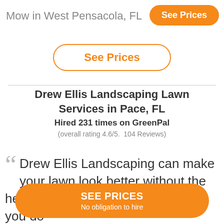Mow in West Pensacola, FL
See Prices
See Prices
Drew Ellis Landscaping Lawn Services in Pace, FL
Hired 231 times on GreenPal
(overall rating 4.6/5.  104 Reviews)
Drew Ellis Landscaping can make your lawn look better without the hefty price tag. We bo...nt so you do...
SEE PRICES
No obligation to hire